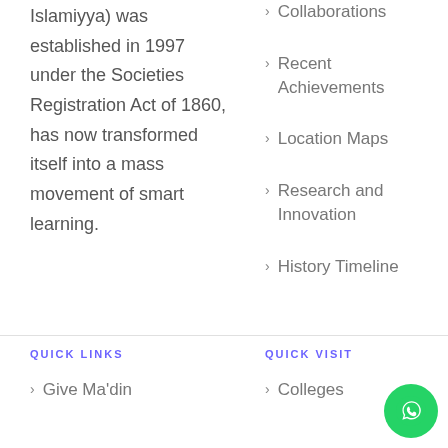Islamiyya) was established in 1997 under the Societies Registration Act of 1860, has now transformed itself into a mass movement of smart learning.
Collaborations
Recent Achievements
Location Maps
Research and Innovation
History Timeline
QUICK LINKS
QUICK VISIT
Give Ma'din
Colleges